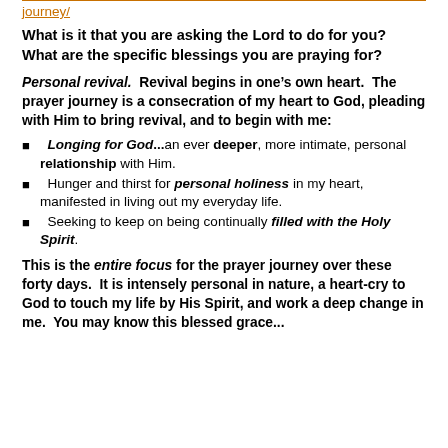journey/
What is it that you are asking the Lord to do for you? What are the specific blessings you are praying for?
Personal revival. Revival begins in one's own heart. The prayer journey is a consecration of my heart to God, pleading with Him to bring revival, and to begin with me:
Longing for God...an ever deeper, more intimate, personal relationship with Him.
Hunger and thirst for personal holiness in my heart, manifested in living out my everyday life.
Seeking to keep on being continually filled with the Holy Spirit.
This is the entire focus for the prayer journey over these forty days. It is intensely personal in nature, a heart-cry to God to touch my life by His Spirit, and work a deep change in me. You may know this blessed grace...